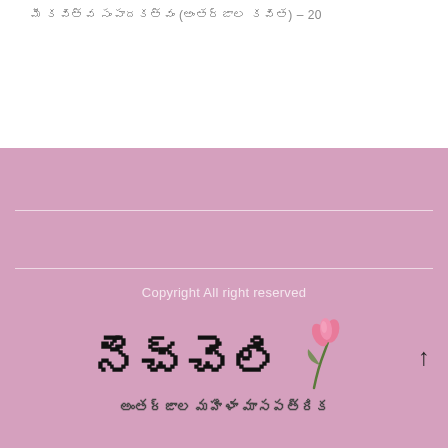మీ కవిత్వ సంపాదకత్వం (అంతర్జాల కవిత) – 20
Copyright All right reserved
[Figure (logo): నెచ్చెలి logo with pink flower/tulip illustration and subtitle అంతర్జాల మహిళా మాసపత్రిక]